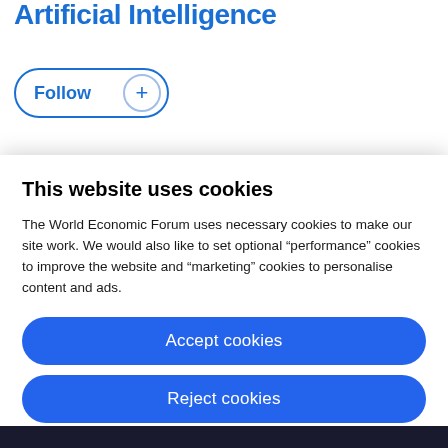Artificial Intelligence
[Figure (other): Follow button with blue border and plus icon]
This website uses cookies
The World Economic Forum uses necessary cookies to make our site work. We would also like to set optional “performance” cookies to improve the website and “marketing” cookies to personalise content and ads.
Accept cookies
Reject cookies
Cookie settings